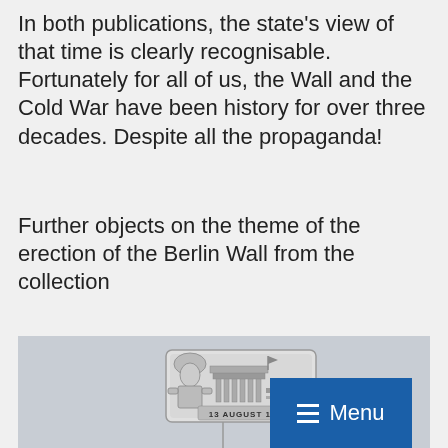In both publications, the state's view of that time is clearly recognisable. Fortunately for all of us, the Wall and the Cold War have been history for over three decades. Despite all the propaganda!
Further objects on the theme of the erection of the Berlin Wall from the collection
[Figure (photo): A silver/metal pin badge featuring a soldier figure on the left and the Brandenburg Gate with the text '13 AUGUST 1961' at the bottom, displayed on a light grey background. A blue 'Menu' button with hamburger icon is overlaid in the bottom-right corner.]